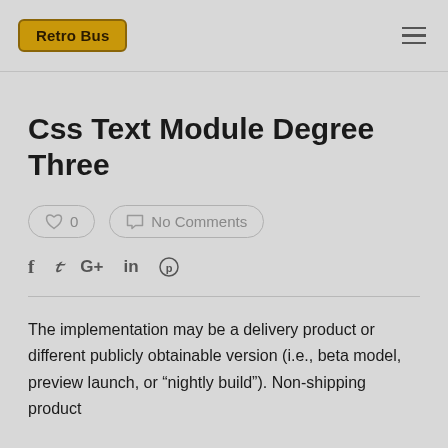Retro Bus
Css Text Module Degree Three
♡ 0   No Comments
f  𝕥  G+  in  ⓟ
The implementation may be a delivery product or different publicly obtainable version (i.e., beta model, preview launch, or “nightly build”). Non-shipping product